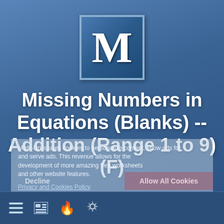[Figure (logo): Large letter M in white bold serif font inside a square box with blue gradient background and light blue border]
Missing Numbers in Equations (Blanks) -- Addition (Range 1 to 9) (F)
Math-Drills uses cookies to personalize content, show ads for and serve ads. This revenue allows for the development of more amazing free worksheets and other website features.
Privacy and Cookies Policy
Search for math worksheets..
Decline   Allow All Cookies